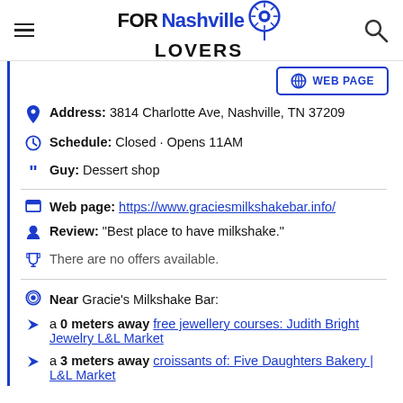FORNashville LOVERS
WEB PAGE
Address: 3814 Charlotte Ave, Nashville, TN 37209
Schedule: Closed · Opens 11AM
Guy: Dessert shop
Web page: https://www.graciesmilkshakebar.info/
Review: "Best place to have milkshake."
There are no offers available.
Near Gracie's Milkshake Bar:
a 0 meters away free jewellery courses: Judith Bright Jewelry L&L Market
a 3 meters away croissants of: Five Daughters Bakery | L&L Market